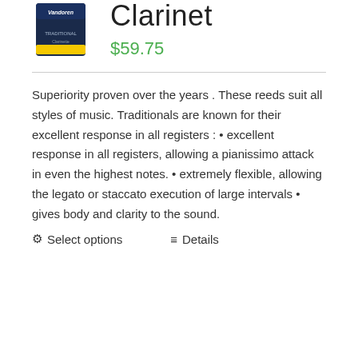[Figure (photo): Product image of a clarinet reed box (Vandoren brand, dark blue/black with yellow accent)]
Clarinet
$59.75
Superiority proven over the years . These reeds suit all styles of music. Traditionals are known for their excellent response in all registers : • excellent response in all registers, allowing a pianissimo attack in even the highest notes. • extremely flexible, allowing the legato or staccato execution of large intervals • gives body and clarity to the sound.
⚙ Select options   ≡ Details